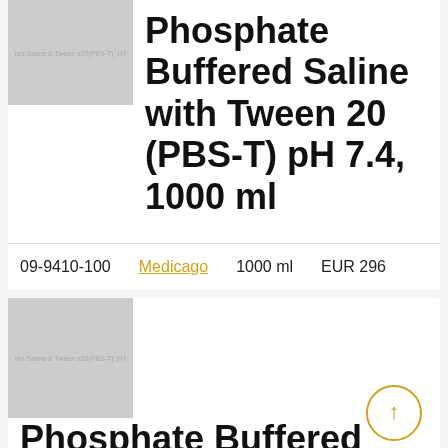[Figure (photo): Product thumbnail image placeholder for Phosphate Buffered Saline with Tween 20 (PBS-T) pH 7.4, gray rectangle with faint text overlay]
Phosphate Buffered Saline with Tween 20 (PBS-T) pH 7.4, 1000 ml
| Catalog Number | Brand | Size | Price |
| --- | --- | --- | --- |
| 09-9410-100 | Medicago | 1000 ml | EUR 296 |
[Figure (photo): Second product thumbnail image placeholder for Phosphate Buffered Saline with Tween 20 (PBS-T), gray rectangle with faint text overlay]
Phosphate Buffered